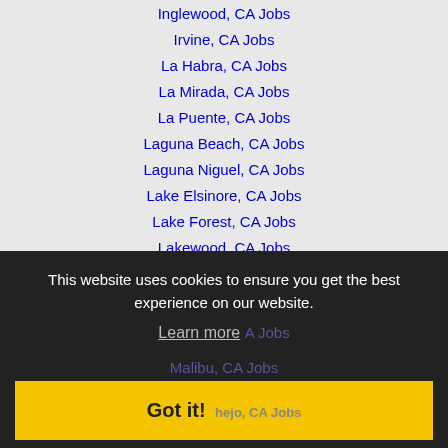Inglewood, CA Jobs
Irvine, CA Jobs
La Habra, CA Jobs
La Mirada, CA Jobs
La Puente, CA Jobs
Laguna Beach, CA Jobs
Laguna Niguel, CA Jobs
Lake Elsinore, CA Jobs
Lake Forest, CA Jobs
Lakewood, CA Jobs
Lancaster, CA Jobs
This website uses cookies to ensure you get the best experience on our website. Learn more
Malibu, CA Jobs
Moorpark, CA Jobs
Montebello, CA Jobs
Monterey Park, CA Jobs